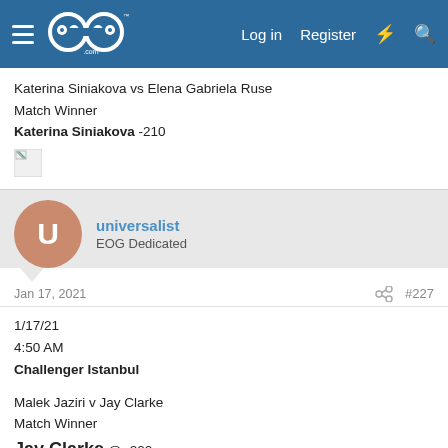EOG Sports - Log in - Register
Katerina Siniakova vs Elena Gabriela Ruse
Match Winner
Katerina Siniakova -210
[Figure (photo): Broken image icon]
universalist
EOG Dedicated
Jan 17, 2021  #227
1/17/21
4:50 AM
Challenger Istanbul

Malek Jaziri v Jay Clarke
Match Winner
Jay Clarke @ -200
[Figure (photo): Broken image icon]